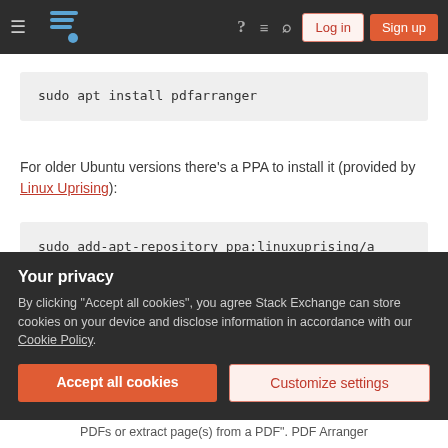Stack Exchange navigation bar with Log in and Sign up buttons
sudo apt install pdfarranger
For older Ubuntu versions there's a PPA to install it (provided by Linux Uprising):
sudo add-apt-repository ppa:linuxuprising/a
sudo apt update
sudo apt install pdfarranger
Share   answered May 28, 2019 at 14:18
Your privacy
By clicking "Accept all cookies", you agree Stack Exchange can store cookies on your device and disclose information in accordance with our Cookie Policy.
Accept all cookies  Customize settings
PDFs or extract page(s) from a PDF". PDF Arranger